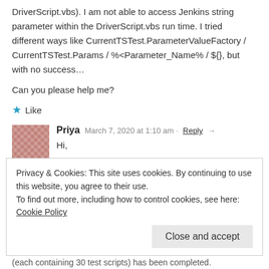DriverScript.vbs). I am not able to access Jenkins string parameter within the DriverScript.vbs run time. I tried different ways like CurrentTSTest.ParameterValueFactory / CurrentTSTest.Params / %<Parameter_Name% / ${}, but with no success…
Can you please help me?
★ Like
Priya  March 7, 2020 at 1:10 am · Reply →
Hi,
I need some information regarding integration of Jenkins with ALM. In our project Unix slave has been configured which is used by deployment teams to run their jobs. Now we cannot get windows
Privacy & Cookies: This site uses cookies. By continuing to use this website, you agree to their use.
To find out more, including how to control cookies, see here: Cookie Policy
Close and accept
(each containing 30 test scripts) has been completed.